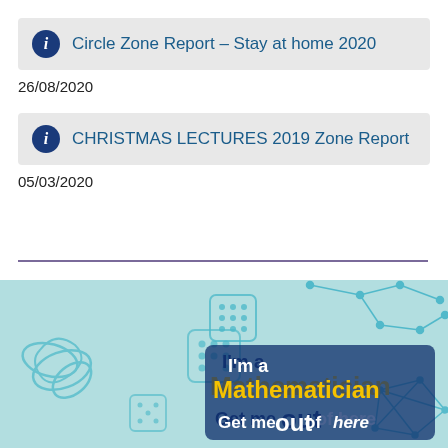Circle Zone Report – Stay at home 2020
26/08/2020
CHRISTMAS LECTURES 2019 Zone Report
05/03/2020
[Figure (illustration): I'm a Mathematician Get me out of here banner with light teal background, knot diagrams, dice, and constellation graphics]